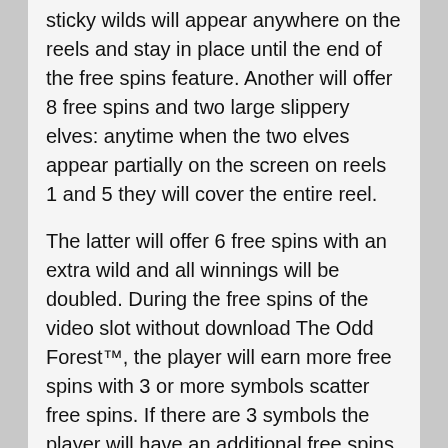sticky wilds will appear anywhere on the reels and stay in place until the end of the free spins feature. Another will offer 8 free spins and two large slippery elves: anytime when the two elves appear partially on the screen on reels 1 and 5 they will cover the entire reel.
The latter will offer 6 free spins with an extra wild and all winnings will be doubled. During the free spins of the video slot without download The Odd Forest™, the player will earn more free spins with 3 or more symbols scatter free spins. If there are 3 symbols the player will have an additional free spins, if there are 4 symbols the player will get 3 free spins, if there are 5 symbols the player will be entitled to 5 free spins. 3 fairy symbols will trigger the Fairy Bonus feature.